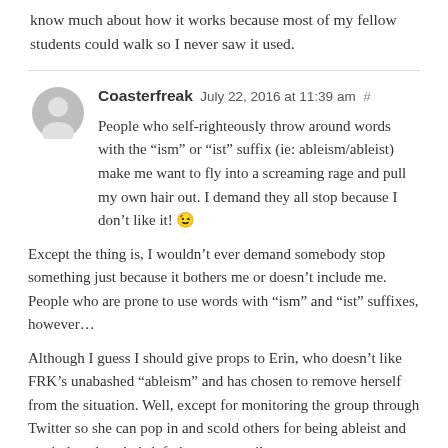know much about how it works because most of my fellow students could walk so I never saw it used.
Coasterfreak July 22, 2016 at 11:39 am #
People who self-righteously throw around words with the “ism” or “ist” suffix (ie: ableism/ableist) make me want to fly into a screaming rage and pull my own hair out. I demand they all stop because I don’t like it! 😉
Except the thing is, I wouldn’t ever demand somebody stop something just because it bothers me or doesn’t include me. People who are prone to use words with “ism” and “ist” suffixes, however…
Although I guess I should give props to Erin, who doesn’t like FRK’s unabashed “ableism” and has chosen to remove herself from the situation. Well, except for monitoring the group through Twitter so she can pop in and scold others for being ableist and remind us that she’s left the group until we